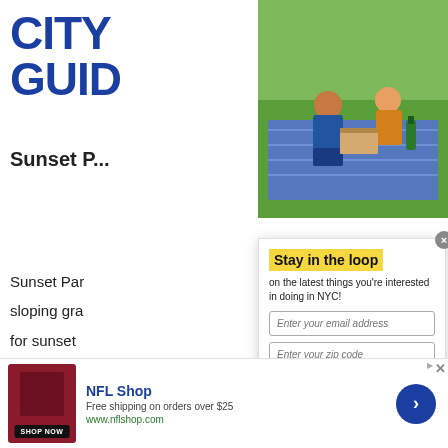[Figure (logo): City Guide logo in blue bold text]
Sunset P...
Sunset Par... sloping gra... for sunset... Hudson Ri... Manhatta... There are a... food and fu... tip: before...
[Figure (photo): Two people having a picnic on a blanket outdoors, with pizza and drinks]
[Figure (infographic): Stay in the loop modal with email and zip code signup form for NYC events newsletter]
[Figure (infographic): NFL Shop advertisement banner: Free shipping on orders over $25, www.nflshop.com, Shop Now button]